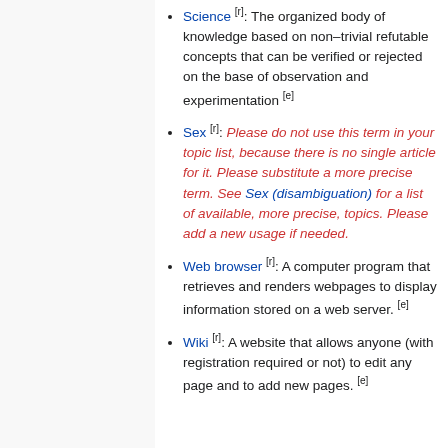Science [r]: The organized body of knowledge based on non–trivial refutable concepts that can be verified or rejected on the base of observation and experimentation [e]
Sex [r]: Please do not use this term in your topic list, because there is no single article for it. Please substitute a more precise term. See Sex (disambiguation) for a list of available, more precise, topics. Please add a new usage if needed.
Web browser [r]: A computer program that retrieves and renders webpages to display information stored on a web server. [e]
Wiki [r]: A website that allows anyone (with registration required or not) to edit any page and to add new pages. [e]